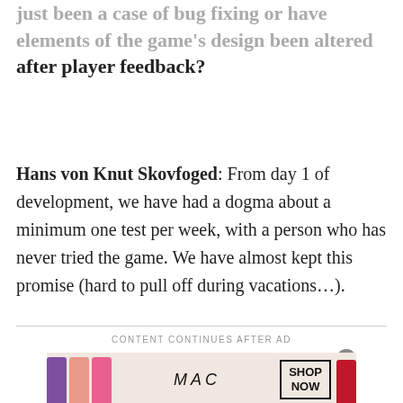just been a case of bug fixing or have elements of the game's design been altered after player feedback?
Hans von Knut Skovfoged: From day 1 of development, we have had a dogma about a minimum one test per week, with a person who has never tried the game. We have almost kept this promise (hard to pull off during vacations…).
CONTENT CONTINUES AFTER AD
[Figure (photo): MAC Cosmetics advertisement banner showing lipsticks in purple, peach, pink, and red colors alongside the MAC logo and a SHOP NOW button]